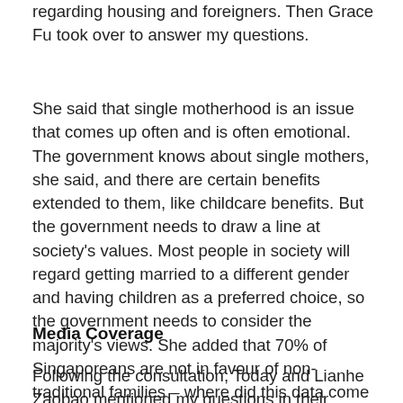regarding housing and foreigners. Then Grace Fu took over to answer my questions.
She said that single motherhood is an issue that comes up often and is often emotional. The government knows about single mothers, she said, and there are certain benefits extended to them, like childcare benefits. But the government needs to draw a line at society's values. Most people in society will regard getting married to a different gender and having children as a preferred choice, so the government needs to consider the majority's views. She added that 70% of Singaporeans are not in favour of non-traditional families – where did this data come from?
Media Coverage
Following the consultation, Today and Lianhe Zaobao mentioned my questions in their reports on 10 Oct.